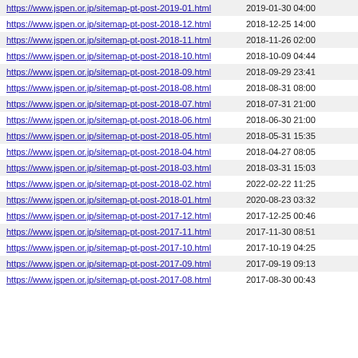| URL | Last Modified |
| --- | --- |
| https://www.jspen.or.jp/sitemap-pt-post-2019-01.html | 2019-01-30 04:00 |
| https://www.jspen.or.jp/sitemap-pt-post-2018-12.html | 2018-12-25 14:00 |
| https://www.jspen.or.jp/sitemap-pt-post-2018-11.html | 2018-11-26 02:00 |
| https://www.jspen.or.jp/sitemap-pt-post-2018-10.html | 2018-10-09 04:44 |
| https://www.jspen.or.jp/sitemap-pt-post-2018-09.html | 2018-09-29 23:41 |
| https://www.jspen.or.jp/sitemap-pt-post-2018-08.html | 2018-08-31 08:00 |
| https://www.jspen.or.jp/sitemap-pt-post-2018-07.html | 2018-07-31 21:00 |
| https://www.jspen.or.jp/sitemap-pt-post-2018-06.html | 2018-06-30 21:00 |
| https://www.jspen.or.jp/sitemap-pt-post-2018-05.html | 2018-05-31 15:35 |
| https://www.jspen.or.jp/sitemap-pt-post-2018-04.html | 2018-04-27 08:05 |
| https://www.jspen.or.jp/sitemap-pt-post-2018-03.html | 2018-03-31 15:03 |
| https://www.jspen.or.jp/sitemap-pt-post-2018-02.html | 2022-02-22 11:25 |
| https://www.jspen.or.jp/sitemap-pt-post-2018-01.html | 2020-08-23 03:32 |
| https://www.jspen.or.jp/sitemap-pt-post-2017-12.html | 2017-12-25 00:46 |
| https://www.jspen.or.jp/sitemap-pt-post-2017-11.html | 2017-11-30 08:51 |
| https://www.jspen.or.jp/sitemap-pt-post-2017-10.html | 2017-10-19 04:25 |
| https://www.jspen.or.jp/sitemap-pt-post-2017-09.html | 2017-09-19 09:13 |
| https://www.jspen.or.jp/sitemap-pt-post-2017-08.html | 2017-08-30 00:43 |